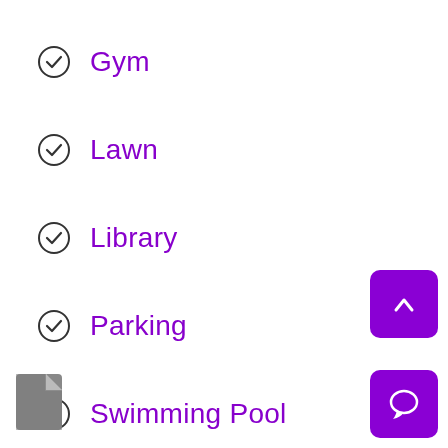Gym
Lawn
Library
Parking
Swimming Pool
Tennis Court
Theater